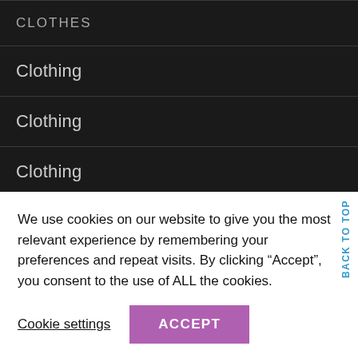CLOTHES
Clothing
Clothing
Clothing
Coupons
We use cookies on our website to give you the most relevant experience by remembering your preferences and repeat visits. By clicking “Accept”, you consent to the use of ALL the cookies.
Cookie settings
ACCEPT
BACK TO TOP